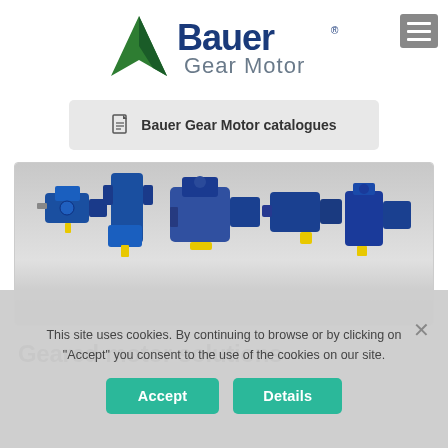[Figure (logo): Bauer Gear Motor logo with green triangle/arrow icon and blue bold Bauer text with registered trademark, and gray 'Gear Motor' subtitle]
Bauer Gear Motor catalogues
[Figure (photo): Row of blue industrial gear motors and gearboxes with yellow shaft ends on a gray gradient background]
Geared motor solutions
This site uses cookies. By continuing to browse or by clicking on "Accept" you consent to the use of the cookies on our site.